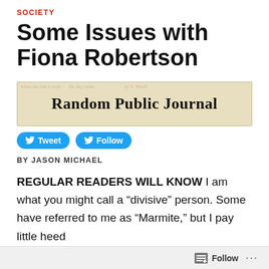SOCIETY
Some Issues with Fiona Robertson
[Figure (logo): Random Public Journal newspaper banner/masthead with old newspaper background texture and gothic serif font]
Tweet   Follow
BY JASON MICHAEL
REGULAR READERS WILL KNOW I am what you might call a “divisive” person. Some have referred to me as “Marmite,” but I pay little heed
Follow   ...